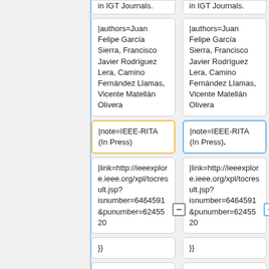in IGT Journals. (left column, truncated top)
|authors=Juan Felipe García Sierra, Francisco Javier Rodríguez Lera, Camino Fernández Llamas, Vicente Matellán Olivera
|note=IEEE-RITA (In Press)
|link=http://ieeexplore.ieee.org/xpl/tocresult.jsp?isnumber=6464591&punumber=6245520
}}
{{Bibitem|title=Interdisciplinary
in IGT Journals. (right column, truncated top)
|authors=Juan Felipe García Sierra, Francisco Javier Rodríguez Lera, Camino Fernández Llamas, Vicente Matellán Olivera
|note=IEEE-RITA (In Press).
|link=http://ieeexplore.ieee.org/xpl/tocresult.jsp?isnumber=6464591&punumber=6245520
}}
{{Bibitem|title=Interdisciplinary